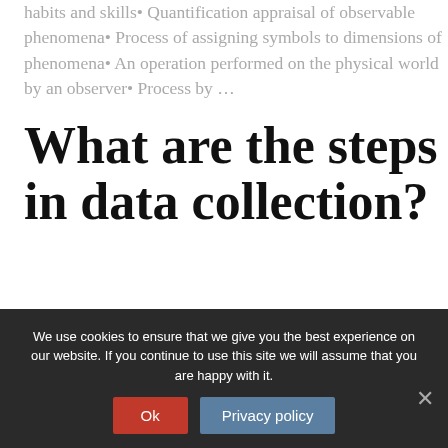habits and skills• Quantification appraisal of observable phenomena• Process of assigning symbols to dimensions of phenomena• An operation performed on the physical world by an observer• Process by ...
What are the steps in data collection?
Page content
We use cookies to ensure that we give you the best experience on our website. If you continue to use this site we will assume that you are happy with it.